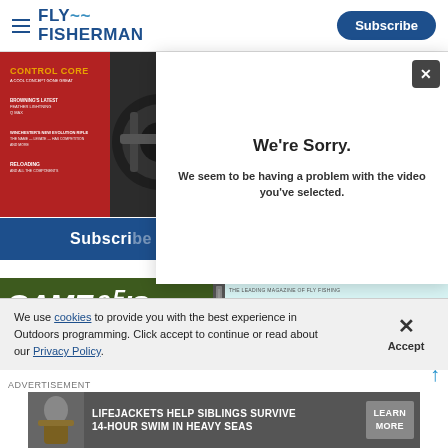FLY FISHERMAN | Subscribe
[Figure (photo): Magazine cover with red background and gun/reel image, showing CONTROL CORE text]
Subscribe
[Figure (logo): Game & Fish logo in dark green with bold italic white text]
[Figure (logo): Fly Fisherman logo in teal on light background]
[Figure (screenshot): Modal dialog: We're Sorry. We seem to be having a problem with the video you've selected.]
We're Sorry.
We seem to be having a problem with the video you've selected.
We use cookies to provide you with the best experience in Outdoors programming. Click accept to continue or read about our Privacy Policy.
Advertisement
[Figure (photo): Advertisement banner: LIFEJACKETS HELP SIBLINGS SURVIVE 14-HOUR SWIM IN HEAVY SEAS — LEARN MORE]